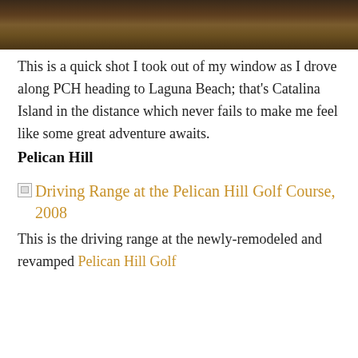[Figure (photo): Partial view of a forested hillside or landscape in autumn colors, cropped at the top of the page]
This is a quick shot I took out of my window as I drove along PCH heading to Laguna Beach; that’s Catalina Island in the distance which never fails to make me feel like some great adventure awaits.
Pelican Hill
[Figure (photo): Broken image placeholder with link text: Driving Range at the Pelican Hill Golf Course, 2008]
Driving Range at the Pelican Hill Golf Course, 2008
This is the driving range at the newly-remodeled and revamped Pelican Hill Golf